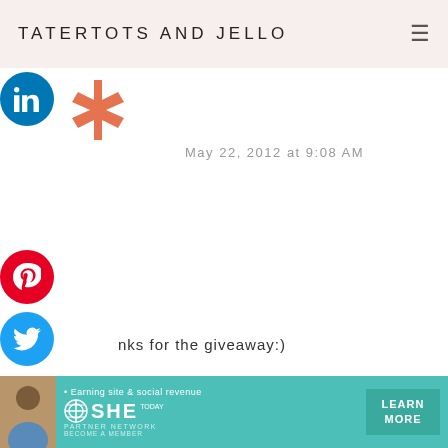TATERTOTS AND JELLO
[Figure (infographic): Social share buttons: LinkedIn (blue circle), Pinterest (red circle with P), Twitter (blue circle with bird icon), and a ShareThis-style cross logo in orange/red]
May 22, 2012 at 9:08 AM
nks for the giveaway:)
[Figure (illustration): Orange diamond pattern circular avatar for Tara Taylor]
TARA TAYLOR says
May 22, 2012 at 9:07 AM
I'd love to win. Thanks for the chance!
[Figure (photo): Advertisement banner: SHE Partner Network - Earning site & social revenue, Learn More button]
[Figure (photo): Woman photo in ad banner]